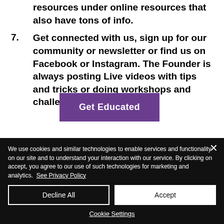resources under online resources that also have tons of info.
7. Get connected with us, sign up for our community or newsletter or find us on Facebook or Instagram. The Founder is always posting Live videos with tips and tricks or doing workshops and challenges.
[Figure (other): Purple 'Get Educated' button]
We use cookies and similar technologies to enable services and functionality on our site and to understand your interaction with our service. By clicking on accept, you agree to our use of such technologies for marketing and analytics. See Privacy Policy
Decline All | Accept | Cookie Settings